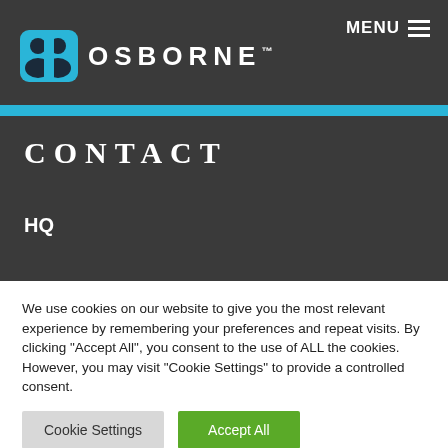MENU ≡
[Figure (logo): Osborne logo: blue rounded rectangle icon with two person silhouettes, followed by OSBORNE™ in white bold uppercase letters]
CONTACT
HQ
We use cookies on our website to give you the most relevant experience by remembering your preferences and repeat visits. By clicking "Accept All", you consent to the use of ALL the cookies. However, you may visit "Cookie Settings" to provide a controlled consent.
Cookie Settings | Accept All